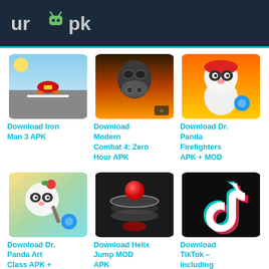UrAPK
[Figure (screenshot): Iron Man 3 game screenshot - aerial racing scene]
Download Iron Man 3 APK
[Figure (screenshot): Modern Combat 4: Zero Hour - soldier with gas mask]
Download Modern Combat 4: Zero Hour APK
[Figure (screenshot): Dr. Panda Firefighters - cartoon panda character]
Download Dr. Panda Firefighters APK + MOD
[Figure (screenshot): Dr. Panda Art Class - cartoon panda with art supplies]
Download Dr. Panda Art Class APK +
[Figure (screenshot): Helix Jump - red ball on spiral tower]
Download Helix Jump MOD APK
[Figure (screenshot): TikTok logo - music note icon on dark background]
Download TikTok – including